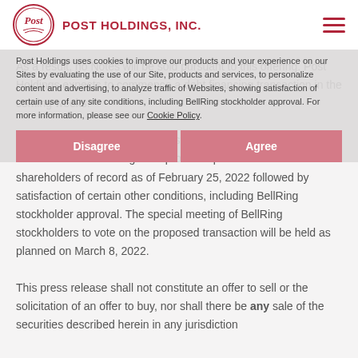POST HOLDINGS, INC.
As a result, no Notes will be sold pursuant to this offering. Post Holdings expects to commence a debt financing transaction in the coming weeks.

Post Holdings also expects to distribute 80.1% of its ownership interest to New BellRing via a pro-rata spin-off to Post shareholders of record as of February 25, 2022 followed by satisfaction of certain other conditions, including BellRing stockholder approval. The special meeting of BellRing stockholders to vote on the proposed transaction will be held as planned on March 8, 2022.
Post Holdings uses cookies to improve our products and your experience on our Sites by evaluating the use of our Site, products and services, to personalize content and advertising, to analyze traffic of Websites, showing satisfaction of certain use of any site conditions, including BellRing stockholder approval. For more information, please see our Cookie Policy.
Disagree
Agree
This press release shall not constitute an offer to sell or the solicitation of an offer to buy, nor shall there be any sale of the securities described herein in any jurisdiction